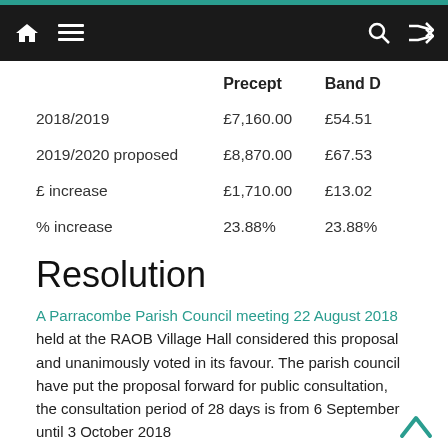Navigation bar with home, menu, search, and shuffle icons
|  | Precept | Band D |
| --- | --- | --- |
| 2018/2019 | £7,160.00 | £54.51 |
| 2019/2020 proposed | £8,870.00 | £67.53 |
| £ increase | £1,710.00 | £13.02 |
| % increase | 23.88% | 23.88% |
Resolution
A Parracombe Parish Council meeting 22 August 2018 held at the RAOB Village Hall considered this proposal and unanimously voted in its favour. The parish council have put the proposal forward for public consultation, the consultation period of 28 days is from 6 September until 3 October 2018